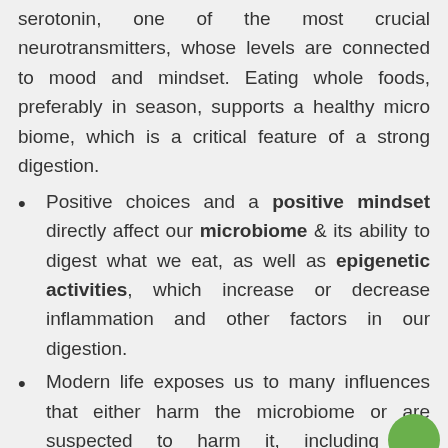serotonin, one of the most crucial neurotransmitters, whose levels are connected to mood and mindset. Eating whole foods, preferably in season, supports a healthy micro biome, which is a critical feature of a strong digestion.
Positive choices and a positive mindset directly affect our microbiome & its ability to digest what we eat, as well as epigenetic activities, which increase or decrease inflammation and other factors in our digestion.
Modern life exposes us to many influences that either harm the microbiome or are suspected to harm it, including the widespread use of antibiotics, a high-fat, high-sugar diet, lack of fiber, air pollution,